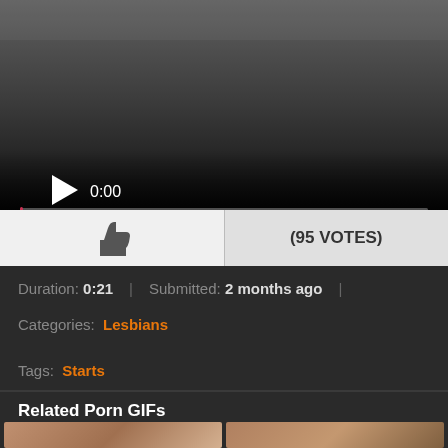[Figure (screenshot): Video player with dark gradient background, play button, timestamp 0:00, progress bar, volume icon, fullscreen icon, and more options icon]
👍 (95 VOTES)
Duration: 0:21  |  Submitted: 2 months ago  |
Categories: Lesbians
Tags: Starts
Related Porn GIFs
[Figure (photo): Two thumbnail images of women]